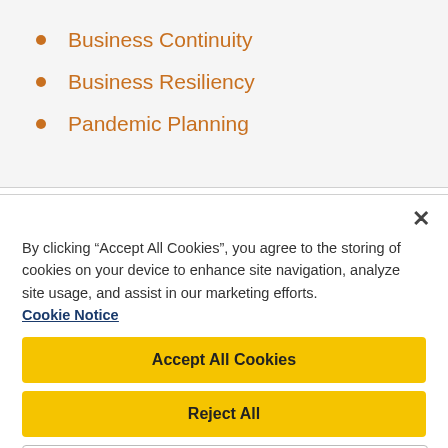Business Continuity
Business Resiliency
Pandemic Planning
By clicking “Accept All Cookies”, you agree to the storing of cookies on your device to enhance site navigation, analyze site usage, and assist in our marketing efforts. Cookie Notice
Accept All Cookies
Reject All
Cookies Settings